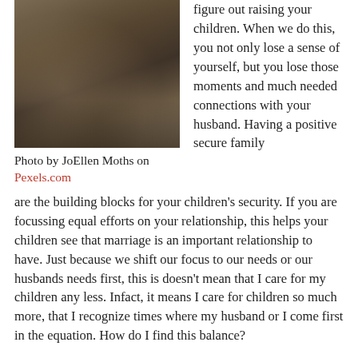[Figure (photo): Family photo showing adults and children walking outdoors in a field, taken by JoEllen Moths]
Photo by JoEllen Moths on Pexels.com
figure out raising your children. When we do this, you not only lose a sense of yourself, but you lose those moments and much needed connections with your husband. Having a positive secure family are the building blocks for your children's security. If you are focussing equal efforts on your relationship, this helps your children see that marriage is an important relationship to have. Just because we shift our focus to our needs or our husbands needs first, this is doesn't mean that I care for my children any less. Infact, it means I care for children so much more, that I recognize times where my husband or I come first in the equation. How do I find this balance?